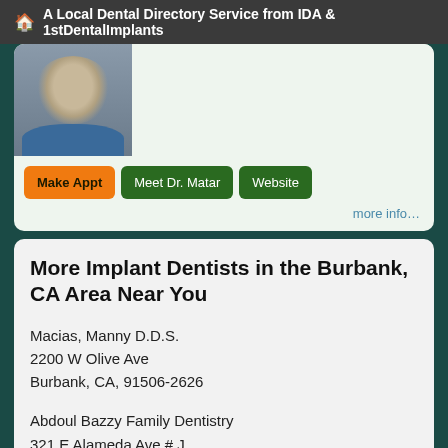A Local Dental Directory Service from IDA & 1stDentalImplants
[Figure (photo): Photo of a male doctor/dentist in professional attire with a blue shirt/tie]
Make Appt   Meet Dr. Matar   Website
more info…
More Implant Dentists in the Burbank, CA Area Near You
Macias, Manny D.D.S.
2200 W Olive Ave
Burbank, CA, 91506-2626
Abdoul Bazzy Family Dentistry
321 E Alameda Ave # J
Burbank, CA, 91502-3326